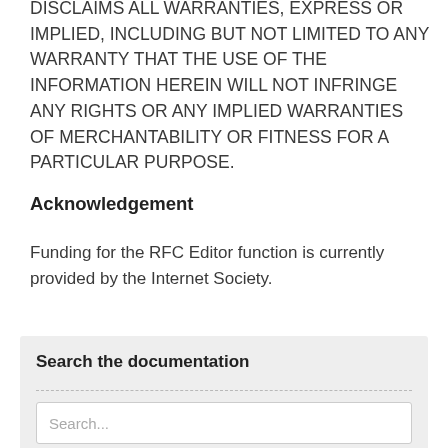DISCLAIMS ALL WARRANTIES, EXPRESS OR IMPLIED, INCLUDING BUT NOT LIMITED TO ANY WARRANTY THAT THE USE OF THE INFORMATION HEREIN WILL NOT INFRINGE ANY RIGHTS OR ANY IMPLIED WARRANTIES OF MERCHANTABILITY OR FITNESS FOR A PARTICULAR PURPOSE.
Acknowledgement
Funding for the RFC Editor function is currently provided by the Internet Society.
Search the documentation
Search...
RFC 3258
Status: INFORMATIONAL